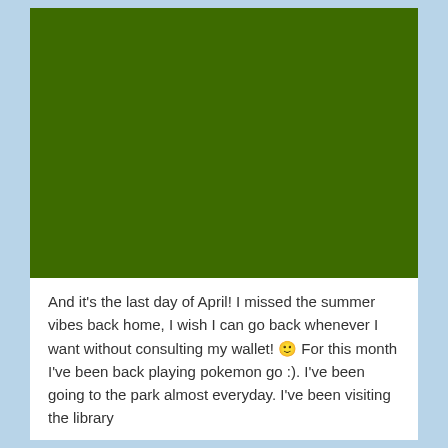[Figure (photo): Large dark olive/forest green rectangular image filling the top portion of the card, likely an outdoor photo with green scenery (park or nature).]
And it's the last day of April! I missed the summer vibes back home, I wish I can go back whenever I want without consulting my wallet! 🙂 For this month I've been back playing pokemon go :). I've been going to the park almost everyday. I've been visiting the library